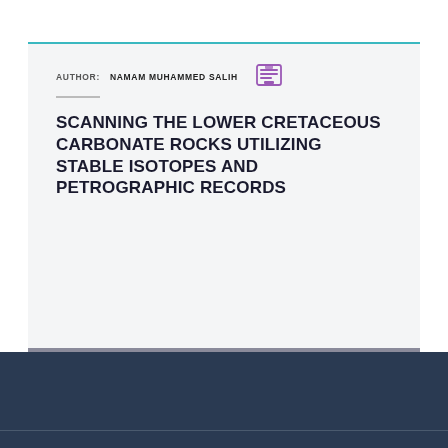AUTHOR: NAMAM MUHAMMED SALIH
SCANNING THE LOWER CRETACEOUS CARBONATE ROCKS UTILIZING STABLE ISOTOPES AND PETROGRAPHIC RECORDS